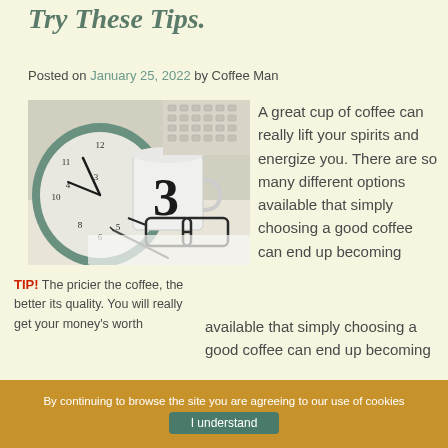Try These Tips.
Posted on January 25, 2022 by Coffee Man
[Figure (photo): Close-up photo of an alarm clock, a coffee mug with number 3, glasses, a pen, and a typewriter keyboard on a desk]
A great cup of coffee can really lift your spirits and energize you. There are so many different options available that simply choosing a good coffee can end up becoming overwhelming. The available flavors...
TIP! The pricier the coffee, the better its quality. You will really get your money's worth
By continuing to browse the site you are agreeing to our use of cookies